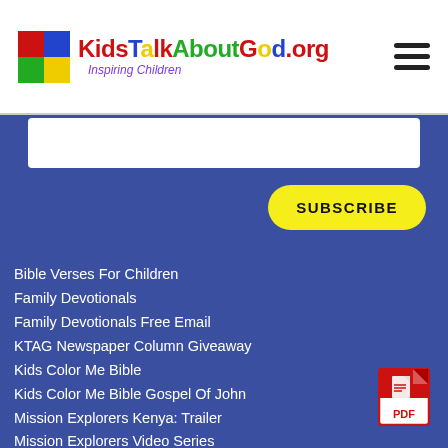KidsTalkAboutGod.org — Inspiring Children
[Figure (logo): KidsTalkAboutGod.org logo with colorful squares icon and multicolored text 'KidsTalkAboutGod.org' with subtitle 'Inspiring Children']
SUBSCRIBE
Bible Verses For Children
Family Devotionals
Family Devotionals Free Email
KTAG Newspaper Column Giveaway
Kids Color Me Bible
Kids Color Me Bible Gospel Of John
Mission Explorers Kenya: Trailer
Mission Explorers Video Series
Mission Explorers Africa Musical
Art Gallery
Bible Coloring Pages
TV Interviews
[Figure (logo): PDF icon — red Adobe PDF document icon]